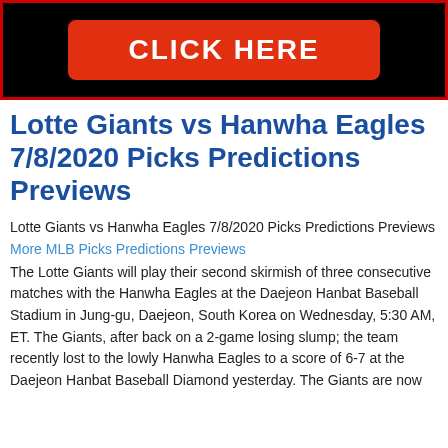[Figure (other): Black banner with red border containing a red 'CLICK HERE' button with white bold text]
Lotte Giants vs Hanwha Eagles 7/8/2020 Picks Predictions Previews
Lotte Giants vs Hanwha Eagles 7/8/2020 Picks Predictions Previews
More MLB Picks Predictions Previews
The Lotte Giants will play their second skirmish of three consecutive matches with the Hanwha Eagles at the Daejeon Hanbat Baseball Stadium in Jung-gu, Daejeon, South Korea on Wednesday, 5:30 AM, ET. The Giants, after back on a 2-game losing slump; the team recently lost to the lowly Hanwha Eagles to a score of 6-7 at the Daejeon Hanbat Baseball Diamond yesterday. The Giants are now